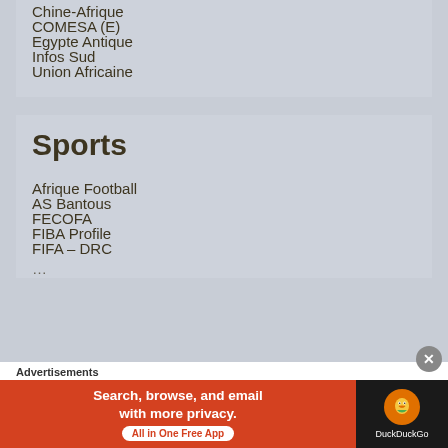Chine-Afrique
COMESA (E)
Egypte Antique
Infos Sud
Union Africaine
Sports
Afrique Football
AS Bantous
FECOFA
FIBA Profile
FIFA – DRC
Advertisements
[Figure (screenshot): DuckDuckGo advertisement banner: 'Search, browse, and email with more privacy. All in One Free App' with DuckDuckGo logo on dark background]